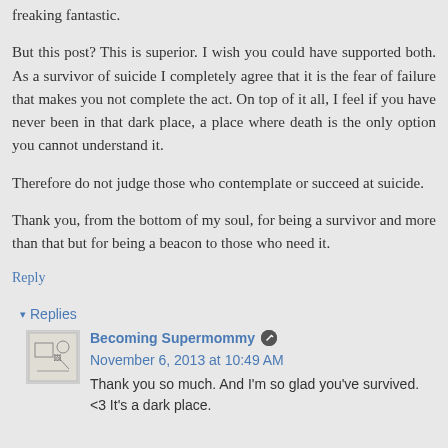freaking fantastic.
But this post? This is superior. I wish you could have supported both. As a survivor of suicide I completely agree that it is the fear of failure that makes you not complete the act. On top of it all, I feel if you have never been in that dark place, a place where death is the only option you cannot understand it.
Therefore do not judge those who contemplate or succeed at suicide.
Thank you, from the bottom of my soul, for being a survivor and more than that but for being a beacon to those who need it.
Reply
Replies
Becoming Supermommy November 6, 2013 at 10:49 AM
Thank you so much. And I'm so glad you've survived. <3 It's a dark place.